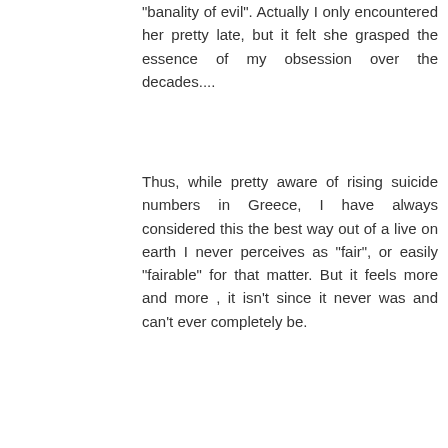"banality of evil". Actually I only encountered her pretty late, but it felt she grasped the essence of my obsession over the decades....
Thus, while pretty aware of rising suicide numbers in Greece, I have always considered this the best way out of a live on earth I never perceives as "fair", or easily "fairable" for that matter. But it feels more and more , it isn't since it never was and can't ever completely be.
And yes, suicide for me is the ultimate option out. And I carry around the way I will do it too. I did in fact research it carefully.
Reply
Anonymous July 13, 2015 at 10:06 AM
Dear Mr. Kastner,